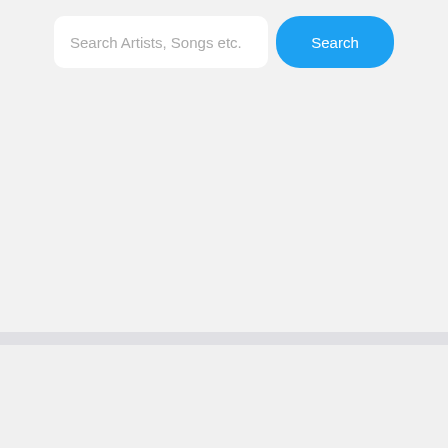[Figure (screenshot): Mobile app search interface showing a search bar with placeholder text 'Search Artists, Songs etc.' and a blue rounded 'Search' button on the right, on a light gray background.]